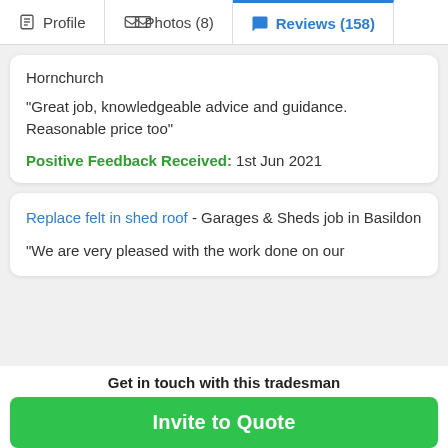Profile | Photos (8) | Reviews (158)
Hornchurch
“Great job, knowledgeable advice and guidance. Reasonable price too”
Positive Feedback Received: 1st Jun 2021
Replace felt in shed roof - Garages & Sheds job in Basildon
“We are very pleased with the work done on our
Get in touch with this tradesman
Invite to Quote